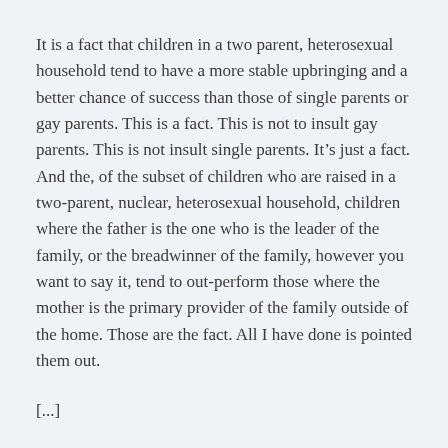It is a fact that children in a two parent, heterosexual household tend to have a more stable upbringing and a better chance of success than those of single parents or gay parents. This is a fact. This is not to insult gay parents. This is not insult single parents. It’s just a fact. And the, of the subset of children who are raised in a two-parent, nuclear, heterosexual household, children where the father is the one who is the leader of the family, or the breadwinner of the family, however you want to say it, tend to out-perform those where the mother is the primary provider of the family outside of the home. Those are the fact. All I have done is pointed them out.
[...]